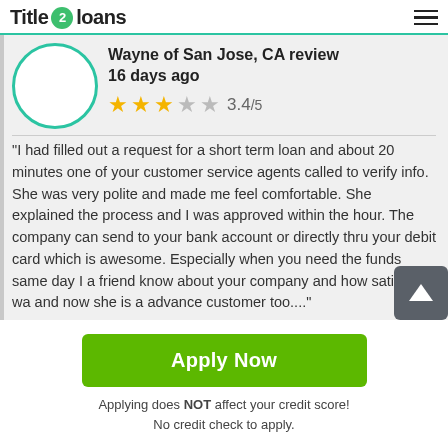Title 2 loans
Wayne of San Jose, CA review
16 days ago
3.4/5
"I had filled out a request for a short term loan and about 20 minutes one of your customer service agents called to verify info. She was very polite and made me feel comfortable. She explained the process and I was approved within the hour. The company can send to your bank account or directly thru your debit card which is awesome. Especially when you need the funds same day I a friend know about your company and how satisfied I wa and now she is a advance customer too...."
Apply Now
Applying does NOT affect your credit score!
No credit check to apply.